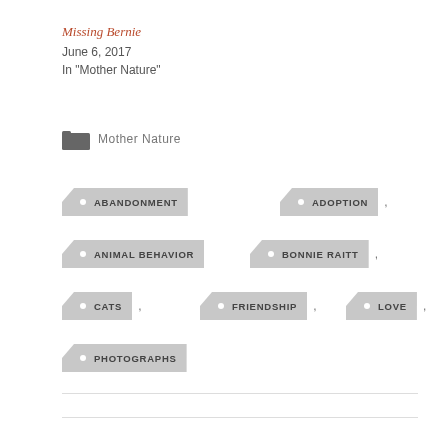Missing Bernie
June 6, 2017
In "Mother Nature"
Mother Nature
ABANDONMENT
ADOPTION
ANIMAL BEHAVIOR
BONNIE RAITT
CATS
FRIENDSHIP
LOVE
PHOTOGRAPHS